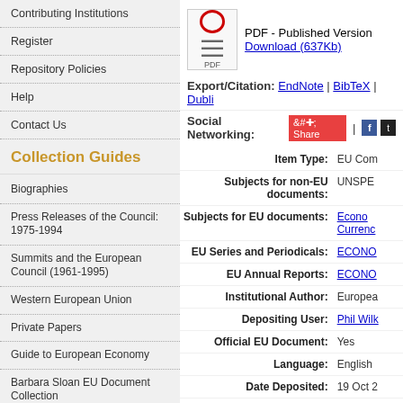Contributing Institutions
Register
Repository Policies
Help
Contact Us
Collection Guides
Biographies
Press Releases of the Council: 1975-1994
Summits and the European Council (1961-1995)
Western European Union
Private Papers
Guide to European Economy
Barbara Sloan EU Document Collection
Search and Browse
[Figure (other): PDF document icon]
PDF - Published Version
Download (637Kb)
Export/Citation: EndNote | BibTeX | Dubli...
Social Networking: Share | Facebook | Twitter
| Field | Value |
| --- | --- |
| Item Type: | EU Com... |
| Subjects for non-EU documents: | UNSPE... |
| Subjects for EU documents: | Econo...
Currenc... |
| EU Series and Periodicals: | ECONO... |
| EU Annual Reports: | ECONO... |
| Institutional Author: | Europea... |
| Depositing User: | Phil Wilk... |
| Official EU Document: | Yes |
| Language: | English |
| Date Deposited: | 19 Oct 2... |
| Number of Pages: | 27 |
| Last Modified: | 17 Sep 2... |
| URI: | http://ae... |